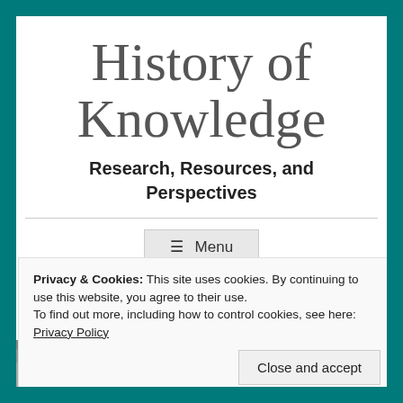History of Knowledge
Research, Resources, and Perspectives
[Figure (screenshot): Menu button with hamburger icon showing 'Menu' text]
Privacy & Cookies: This site uses cookies. By continuing to use this website, you agree to their use.
To find out more, including how to control cookies, see here:
Privacy Policy
Close and accept
[Figure (photo): Grayscale photograph strip at bottom showing people]